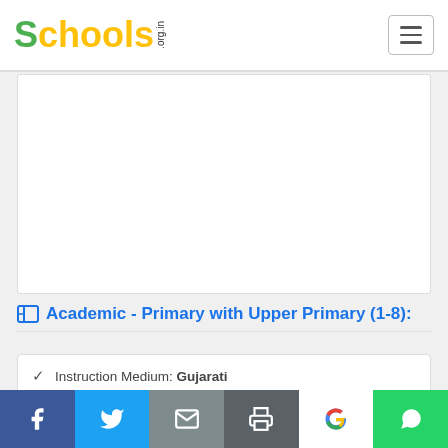Schools.org.in
[Figure (other): Advertisement placeholder area (white box)]
Academic - Primary with Upper Primary (1-8):
Instruction Medium: Gujarati
Male Teachers: 1
Social share bar: Facebook, Twitter, Email, Print, Google, WhatsApp